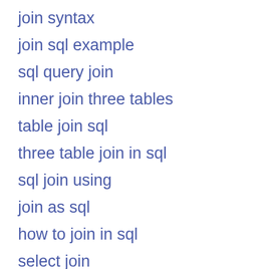join syntax
join sql example
sql query join
inner join three tables
table join sql
three table join in sql
sql join using
join as sql
how to join in sql
select join
sql join
table join in sql
join three tables
how to join sql